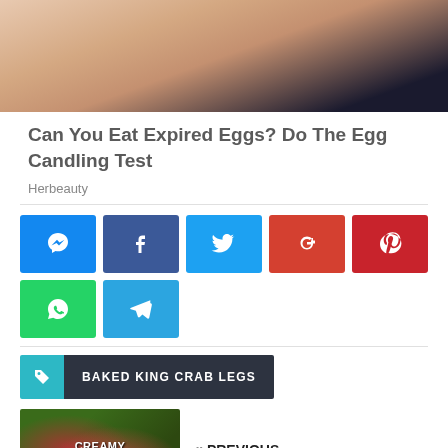[Figure (photo): Close-up of human fingers holding something, dark background at bottom]
Can You Eat Expired Eggs? Do The Egg Candling Test
Herbeauty
[Figure (infographic): Social sharing buttons: Messenger, Facebook, Twitter, Google+, Pinterest, WhatsApp, Telegram]
BAKED KING CRAB LEGS
[Figure (photo): Thumbnail image for Creamy Chicken Pasta Salad]
« PREVIOUS
Creamy Chicken Pasta Salad